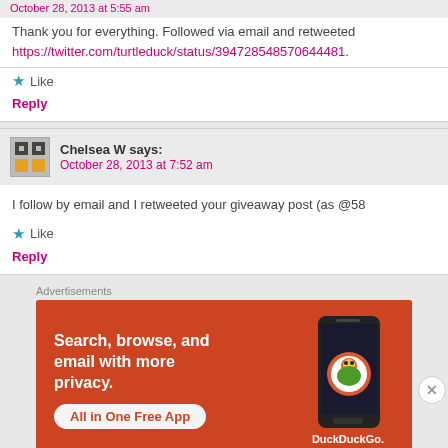Thank you for everything. Followed via email and retweeted https://twitter.com/turtleduck/status/394728548570644481.
Like
Reply
Chelsea W says: October 28, 2013 at 7:52 am
I follow by email and I retweeted your giveaway post (as @58
Like
Reply
Advertisements
[Figure (screenshot): DuckDuckGo advertisement banner with orange background. Text reads: Search, browse, and email with more privacy. All in One Free App. Shows DuckDuckGo logo and phone image.]